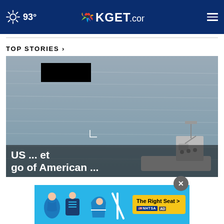93° KGET.com
TOP STORIES ›
[Figure (photo): Black and white aerial/surveillance footage of ocean water with a military or coast guard vessel visible in the lower right portion of the image. A small black rectangle appears in the upper left area, and targeting crosshairs are visible near the center-left.]
US ... et go of American ...
[Figure (infographic): NHTSA advertisement banner with blue background showing car seat safety icons and The Right Seat button in yellow.]